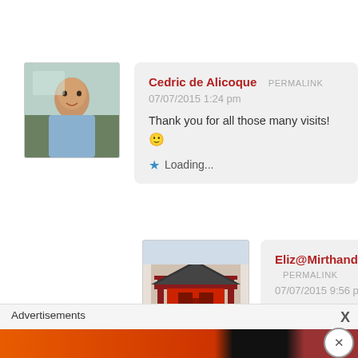Cedric de Alicoque PERMALINK
07/07/2015 1:24 pm
Thank you for all those many visits! 🙂
★ Loading...
Eliz@MirthandMotivation PERMALINK
07/07/2015 9:56 pm
I owed you the visits. Thank you too! 🙂
★ Loading...
Advertisements X